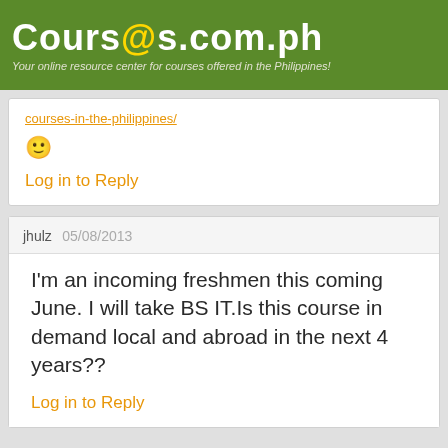Courses.com.ph — Your online resource center for courses offered in the Philippines!
courses-in-the-philippines/
🙂
Log in to Reply
jhulz  05/08/2013
I'm an incoming freshmen this coming June. I will take BS IT.Is this course in demand local and abroad in the next 4 years??
Log in to Reply